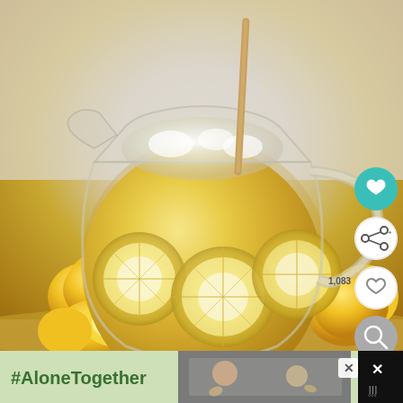[Figure (photo): A glass pitcher filled with lemonade and lemon slices, with whole lemons and a halved lemon arranged around it on a light wooden surface. A wooden spoon or straw is visible in the pitcher. UI overlay buttons (heart/favorite, share, and search) are visible on the right side.]
[Figure (photo): Advertisement banner at the bottom with green background showing '#AloneTogether' text and a photo of two people waving, with a close button.]